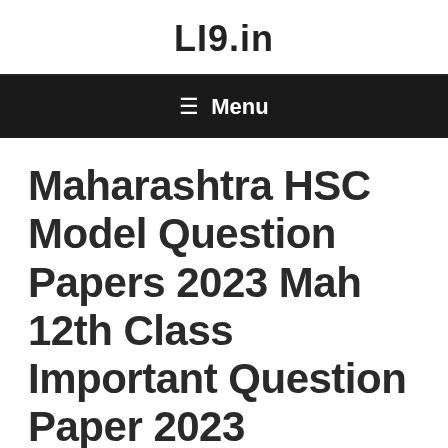LI9.in
≡ Menu
Maharashtra HSC Model Question Papers 2023 Mah 12th Class Important Question Paper 2023